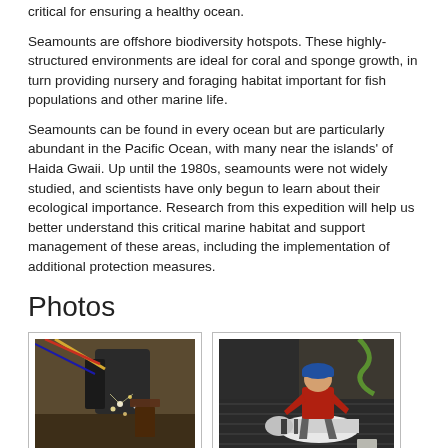critical for ensuring a healthy ocean.
Seamounts are offshore biodiversity hotspots. These highly-structured environments are ideal for coral and sponge growth, in turn providing nursery and foraging habitat important for fish populations and other marine life.
Seamounts can be found in every ocean but are particularly abundant in the Pacific Ocean, with many near the islands' of Haida Gwaii. Up until the 1980s, seamounts were not widely studied, and scientists have only begun to learn about their ecological importance. Research from this expedition will help us better understand this critical marine habitat and support management of these areas, including the implementation of additional protection measures.
Photos
[Figure (photo): Underwater photo showing robotic equipment with sparks/particles]
[Figure (photo): Photo of person in red jacket working on cylindrical equipment on a ship deck]
In this story
Keywords: research, physics, earthquake, oceans, ONC, marine, expedition,